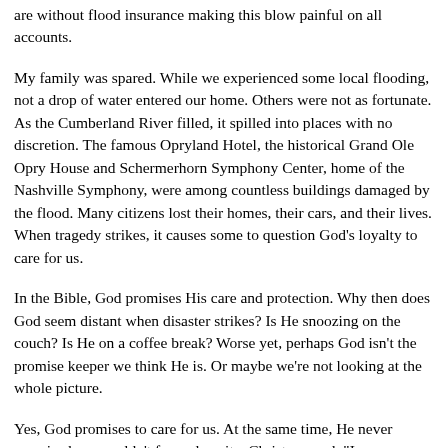are without flood insurance making this blow painful on all accounts.
My family was spared. While we experienced some local flooding, not a drop of water entered our home. Others were not as fortunate. As the Cumberland River filled, it spilled into places with no discretion. The famous Opryland Hotel, the historical Grand Ole Opry House and Schermerhorn Symphony Center, home of the Nashville Symphony, were among countless buildings damaged by the flood. Many citizens lost their homes, their cars, and their lives. When tragedy strikes, it causes some to question God's loyalty to care for us.
In the Bible, God promises His care and protection. Why then does God seem distant when disaster strikes? Is He snoozing on the couch? Is He on a coffee break? Worse yet, perhaps God isn't the promise keeper we think He is. Or maybe we're not looking at the whole picture.
Yes, God promises to care for us. At the same time, He never promised we wouldn't face adversity. Christ warned, "I